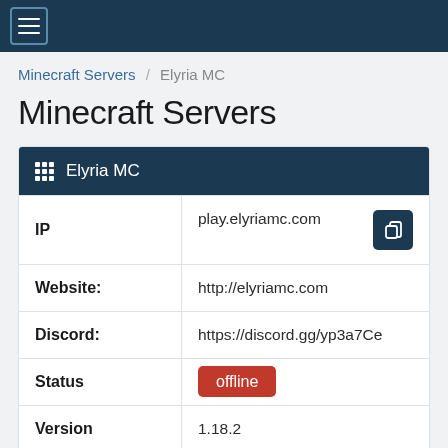Minecraft Servers / Elyria MC
Minecraft Servers
| Field | Value |
| --- | --- |
| IP | play.elyriamc.com |
| Website: | http://elyriamc.com |
| Discord: | https://discord.gg/yp3a7Ce |
| Status | offline |
| Version | 1.18.2 |